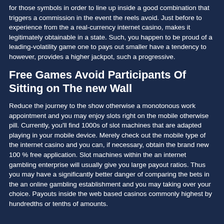for those symbols in order to line up inside a good combination that triggers a commission in the event the reels avoid. Just before to experience from the a real-currency internet casino, makes it legitimately obtainable in a state. Such, you happen to be proud of a leading-volatility game one to pays out smaller have a tendency to however, provides a higher jackpot, such a progressive.
Free Games Avoid Participants Of Sitting on The new Wall
Reduce the journey to the show otherwise a monotonous work appointment and you may enjoy slots right on the mobile otherwise pill. Currently, you'll find 1000s of slot machines that are adapted playing in your mobile device. Merely check out the mobile type of the internet casino and you can, if necessary, obtain the brand new 100 % free application. Slot machines within the an internet gambling enterprise will usually give you large payout ratios. Thus you may have a significantly better danger of comparing the bets in the an online gambling establishment and you may taking over your choice. Payouts inside the web based casinos commonly highest by hundredths or tenths of amounts.